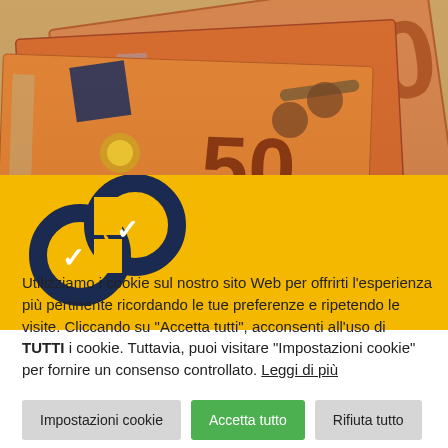[Figure (photo): Close-up photo of Euro banknotes (50 euro notes) spread out, showing orange/red tones and the number 50.]
[Figure (illustration): Yellow banner with a chain link icon (two interlocked loops) in dark navy blue and white outline, set against a golden yellow background.]
Utilizziamo i cookie sul nostro sito Web per offrirti l'esperienza più pertinente ricordando le tue preferenze e ripetendo le visite. Cliccando su "Accetta tutti", acconsenti all'uso di TUTTI i cookie. Tuttavia, puoi visitare "Impostazioni cookie" per fornire un consenso controllato. Leggi di più
Impostazioni cookie
Accetta tutto
Rifiuta tutto